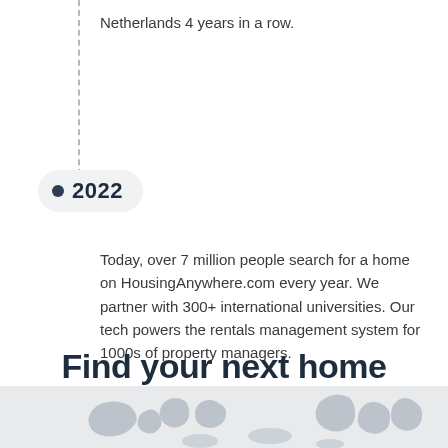Netherlands 4 years in a row.
2022
Today, over 7 million people search for a home on HousingAnywhere.com every year. We partner with 300+ international universities. Our tech powers the rentals management system for 1000s of property managers.
Find your next home
[Figure (illustration): Greyed-out map/country outline illustrations at the bottom of the page]